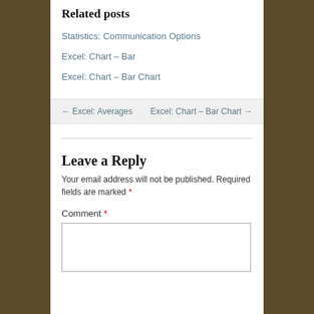Related posts
Statistics: Communication Options
Excel: Chart – Bar
Excel: Chart – Bar Chart
← Excel: Averages    Excel: Chart – Bar Chart →
Leave a Reply
Your email address will not be published. Required fields are marked *
Comment *